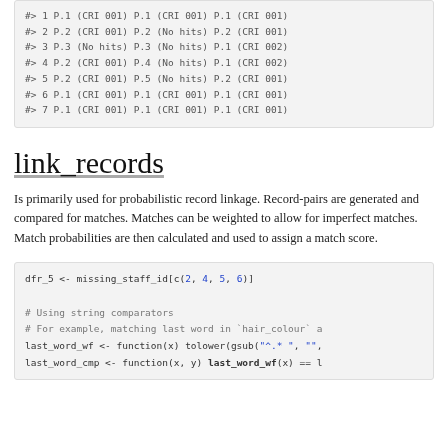#> 1 P.1 (CRI 001) P.1 (CRI 001) P.1 (CRI 001)
#> 2 P.2 (CRI 001) P.2 (No hits) P.2 (CRI 001)
#> 3 P.3 (No hits) P.3 (No hits) P.1 (CRI 002)
#> 4 P.2 (CRI 001) P.4 (No hits) P.1 (CRI 002)
#> 5 P.2 (CRI 001) P.5 (No hits) P.2 (CRI 001)
#> 6 P.1 (CRI 001) P.1 (CRI 001) P.1 (CRI 001)
#> 7 P.1 (CRI 001) P.1 (CRI 001) P.1 (CRI 001)
link_records
Is primarily used for probabilistic record linkage. Record-pairs are generated and compared for matches. Matches can be weighted to allow for imperfect matches. Match probabilities are then calculated and used to assign a match score.
dfr_5 <- missing_staff_id[c(2, 4, 5, 6)]

# Using string comparators
# For example, matching last word in `hair_colour` a
last_word_wf <- function(x) tolower(gsub("^.* ", "",
last_word_cmp <- function(x, y) last_word_wf(x) == l